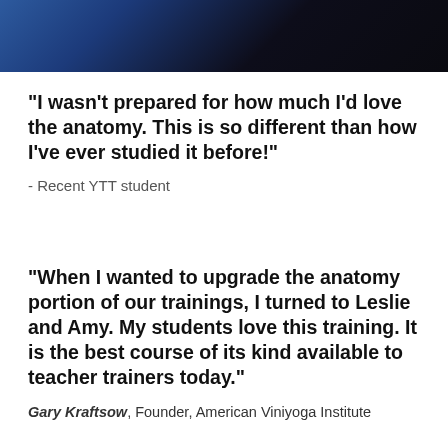[Figure (photo): Photo of two people wearing dark clothing, cropped at top of page]
"I wasn't prepared for how much I'd love the anatomy. This is so different than how I've ever studied it before!"
- Recent YTT student
"When I wanted to upgrade the anatomy portion of our trainings, I turned to Leslie and Amy. My students love this training. It is the best course of its kind available to teacher trainers today."
Gary Kraftsow, Founder, American Viniyoga Institute